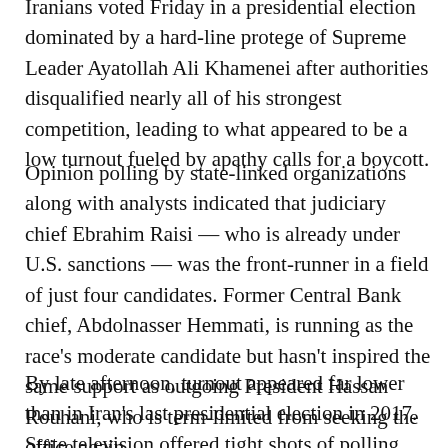Iranians voted Friday in a presidential election dominated by a hard-line protege of Supreme Leader Ayatollah Ali Khamenei after authorities disqualified nearly all of his strongest competition, leading to what appeared to be a low turnout fueled by apathy calls for a boycott.
Opinion polling by state-linked organizations along with analysts indicated that judiciary chief Ebrahim Raisi — who is already under U.S. sanctions — was the front-runner in a field of just four candidates. Former Central Bank chief, Abdolnasser Hemmati, is running as the race's moderate candidate but hasn't inspired the same support as outgoing President Hassan Rouhani, who is term-limited from seeking the office again.
By late afternoon, turnout appeared far lower than in Iran's last presidential election in 2017. State television offered tight shots of polling places, several of which